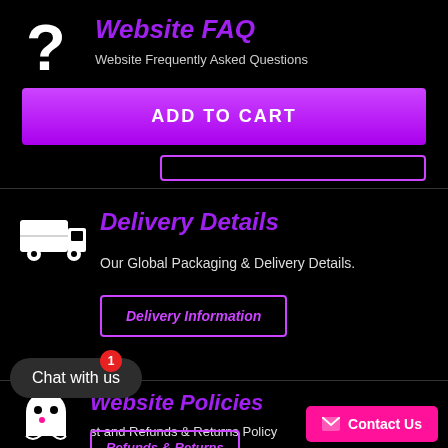Website FAQ
Website Frequently Asked Questions
ADD TO CART
Delivery Details
Our Global Packaging & Delivery Details.
Delivery Information
Website Policies
st and Refunds & Returns Policy
Refunds & Returns
Chat with us
Contact Us